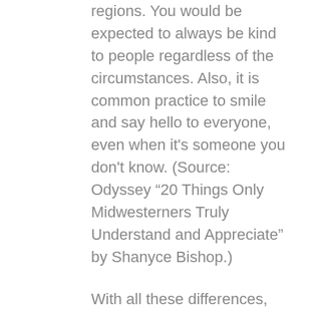regions. You would be expected to always be kind to people regardless of the circumstances. Also, it is common practice to smile and say hello to everyone, even when it's someone you don't know. (Source: Odyssey “20 Things Only Midwesterners Truly Understand and Appreciate” by Shanyce Bishop.)
With all these differences, how do you understand what to do?  Do your research, ask someone who makes you feel recognized and respected, and pay attention to what other people are doing.
That’s what I did traveling back and forth from France to Switzerland when I was studying abroad during high school. These countries’